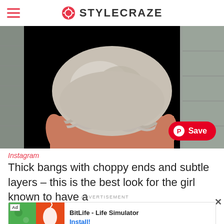STYLECRAZE
[Figure (photo): Back view of a person with blonde layered hair with choppy ends, wearing a pink/salmon top, standing in front of a stone wall. A Pinterest Save button is overlaid at the bottom right.]
Instagram
Thick bangs with choppy ends and subtle layers – this is the best look for the girl known to have a
ADVERTISEMENT
[Figure (screenshot): Advertisement banner for BitLife - Life Simulator app with Install button]